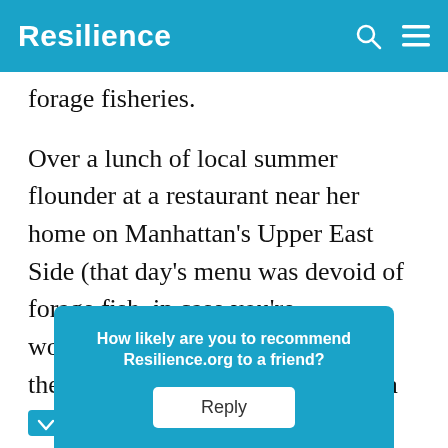Resilience
forage fisheries.
Over a lunch of local summer flounder at a restaurant near her home on Manhattan’s Upper East Side (that day’s menu was devoid of forage fish, in case you’re wondering), Pikitch explained that these fisheries have suffered from a chronic lack of management—“small and ugly,” … and the…
How likely are you to recommend Resilience.org to a friend?
Reply